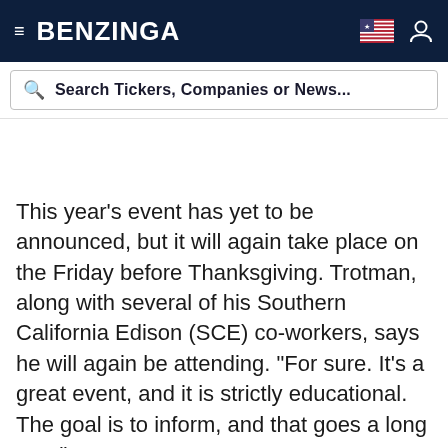BENZINGA
Search Tickers, Companies or News...
This year's event has yet to be announced, but it will again take place on the Friday before Thanksgiving. Trotman, along with several of his Southern California Edison (SCE) co-workers, says he will again be attending. "For sure. It's a great event, and it is strictly educational. The goal is to inform, and that goes a long way."
For anyone who is interested in attending this year's